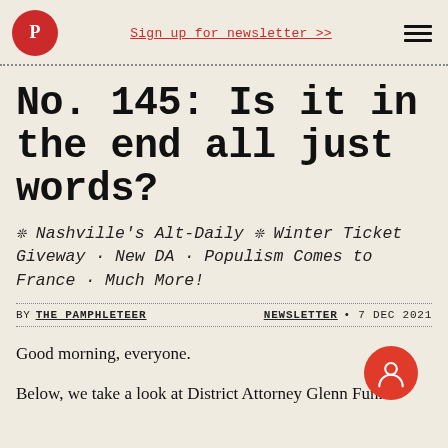Sign up for newsletter >>
No. 145: Is it in the end all just words?
❊ Nashville's Alt-Daily ❊ Winter Ticket Giveway · New DA · Populism Comes to France · Much More!
BY THE PAMPHLETEER    NEWSLETTER • 7 DEC 2021
Good morning, everyone.
Below, we take a look at District Attorney Glenn Funk's